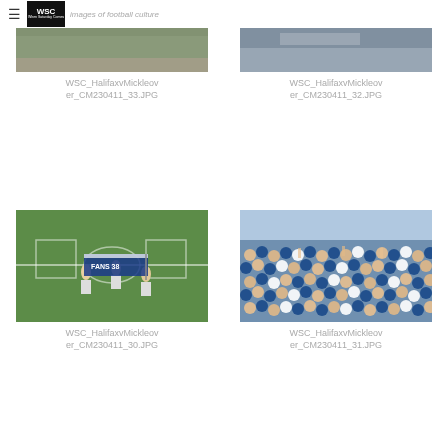≡ WSC images of football culture
[Figure (photo): Partial football photo cropped at top - WSC_HalifaxvMickleover_CM230411_33.JPG]
WSC_HalifaxvMickleover_CM230411_33.JPG
[Figure (photo): Partial football photo cropped at top - WSC_HalifaxvMickleover_CM230411_32.JPG]
WSC_HalifaxvMickleover_CM230411_32.JPG
[Figure (photo): Football players on pitch carrying a blue and white banner/flag]
WSC_HalifaxvMickleover_CM230411_30.JPG
[Figure (photo): Large crowd of football supporters in blue and white]
WSC_HalifaxvMickleover_CM230411_31.JPG